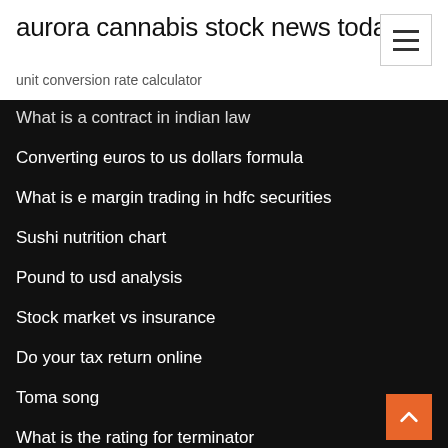aurora cannabis stock news today
unit conversion rate calculator
What is a contract in indian law
Converting euros to us dollars formula
What is e margin trading in hdfc securities
Sushi nutrition chart
Pound to usd analysis
Stock market vs insurance
Do your tax return online
Toma song
What is the rating for terminator
Homestay contract